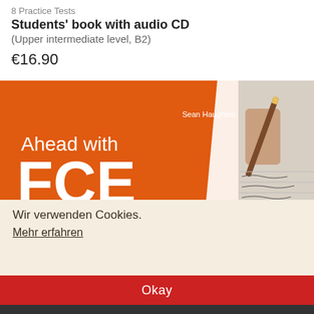8 Practice Tests
Students' book with audio CD
(Upper intermediate level, B2)
€16.90
[Figure (photo): Book cover showing 'Ahead with FCE for schools' by Sean Haughton on an orange background, alongside a photo of someone writing with a pencil on paper.]
Wir verwenden Cookies.
Mehr erfahren
Okay